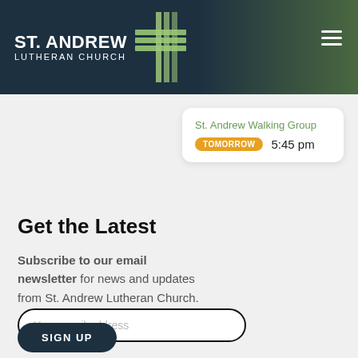ST. ANDREW LUTHERAN CHURCH
St. Andrew Walking Group TOMORROW 5:45 pm
Get the Latest
Subscribe to our email newsletter for news and updates from St. Andrew Lutheran Church.
Your email address
SIGN UP